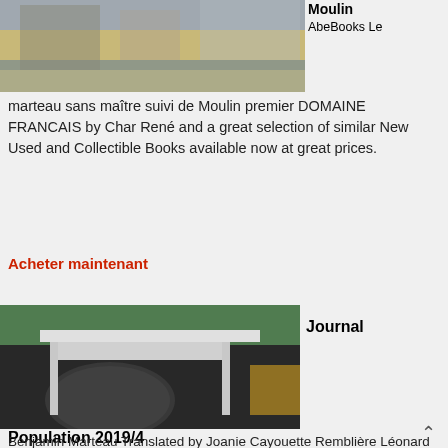[Figure (photo): Industrial quarry/crushing plant machinery outdoors, grey and dusty environment]
Moulin
AbeBooks Le marteau sans maître suivi de Moulin premier DOMAINE FRANCAIS by Char René and a great selection of similar New Used and Collectible Books available now at great prices.
Acheter maintenant
[Figure (photo): Industrial roller/drum machine on metal frame outdoors, with green grass and industrial equipment in background]
Journal
Population 2019/4
Benjamin Marteau Translated by Joanie Cayouette Remblière Léonard Moulin Amari Salima 2018 Lesbiennes